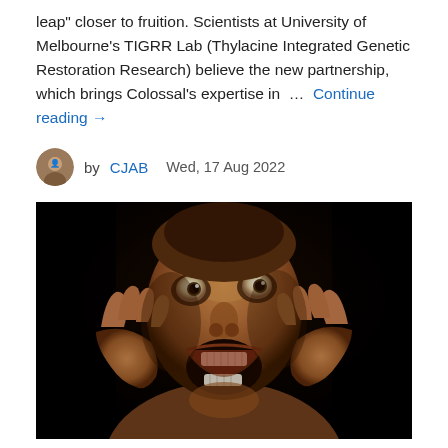leap" closer to fruition. Scientists at University of Melbourne's TIGRR Lab (Thylacine Integrated Genetic Restoration Research) believe the new partnership, which brings Colossal's expertise in … … Continue reading →
by CJAB   Wed, 17 Aug 2022
[Figure (photo): Dark dramatic photo/illustration of a distorted humanoid figure with wide eyes and open mouth, hands clawing at the face, against a black background.]